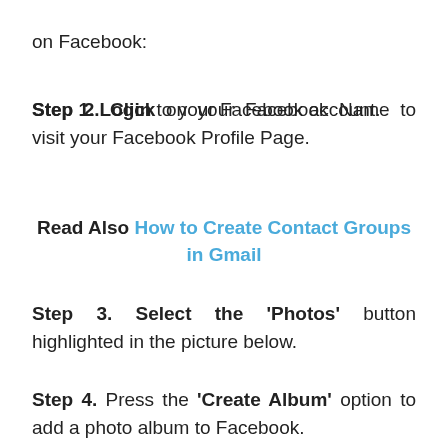on Facebook:
Step 1. Login to your Facebook account.
Step 2. Click on your Facebook Name to visit your Facebook Profile Page.
Read Also How to Create Contact Groups in Gmail
Step 3. Select the 'Photos' button highlighted in the picture below.
Step 4. Press the 'Create Album' option to add a photo album to Facebook.